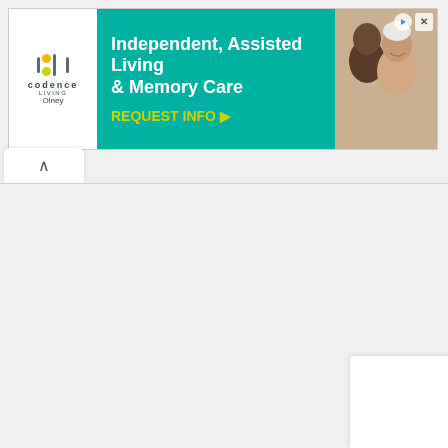[Figure (screenshot): Advertisement banner for Codence Living Olney – Independent, Assisted Living & Memory Care with REQUEST INFO call-to-action button. Teal/green background with white logo on left and photo of elderly people on right.]